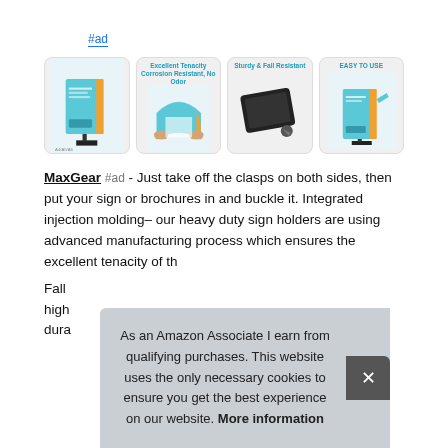#ad
[Figure (photo): Four product images of MaxGear sign holders showing: (1) product display stand, (2) Excellent Tenacity - corrosion resistant material being bent, (3) Sturdy & Fall Resistant - black sign holder lying flat, (4) Easy To Use - sign holder display stand]
MaxGear #ad - Just take off the clasps on both sides, then put your sign or brochures in and buckle it. Integrated injection molding– our heavy duty sign holders are using advanced manufacturing process which ensures the excellent tenacity of th
Fall... high... dura...
As an Amazon Associate I earn from qualifying purchases. This website uses the only necessary cookies to ensure you get the best experience on our website. More information